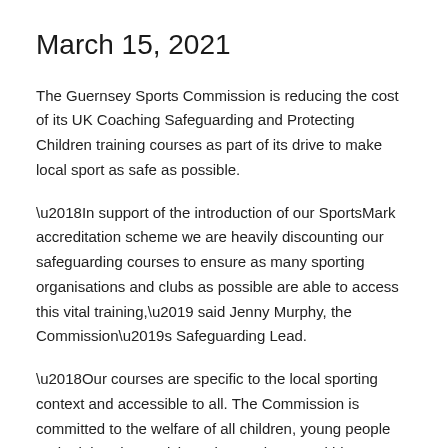March 15, 2021
The Guernsey Sports Commission is reducing the cost of its UK Coaching Safeguarding and Protecting Children training courses as part of its drive to make local sport as safe as possible.
‘In support of the introduction of our SportsMark accreditation scheme we are heavily discounting our safeguarding courses to ensure as many sporting organisations and clubs as possible are able to access this vital training,’ said Jenny Murphy, the Commission’s Safeguarding Lead.
‘Our courses are specific to the local sporting context and accessible to all. The Commission is committed to the welfare of all children, young people and adults who participate in or volunteer within sport.